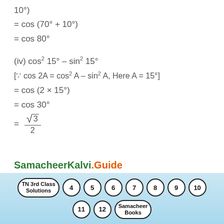(iv) cos² 15° – sin² 15°
[∵ cos 2A = cos² A – sin² A, Here A = 15°]
SamacheerKalvi.Guide
[Figure (infographic): Navigation buttons: TN 3rd Class Solutions, 4, 5, 6, 7, 8, 9, 10, 11, 12, Samacheer Books]